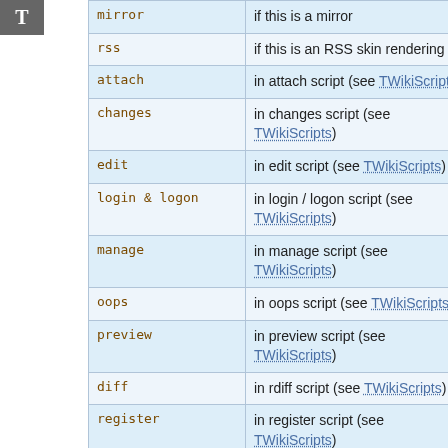| key | description |
| --- | --- |
| mirror | if this is a mirror |
| rss | if this is an RSS skin rendering |
| attach | in attach script (see TWikiScripts) |
| changes | in changes script (see TWikiScripts) |
| edit | in edit script (see TWikiScripts) |
| login & logon | in login / logon script (see TWikiScripts) |
| manage | in manage script (see TWikiScripts) |
| oops | in oops script (see TWikiScripts) |
| preview | in preview script (see TWikiScripts) |
| diff | in rdiff script (see TWikiScripts) |
| register | in register script (see TWikiScripts) |
| rename | in rename script (see TWikiScripts) |